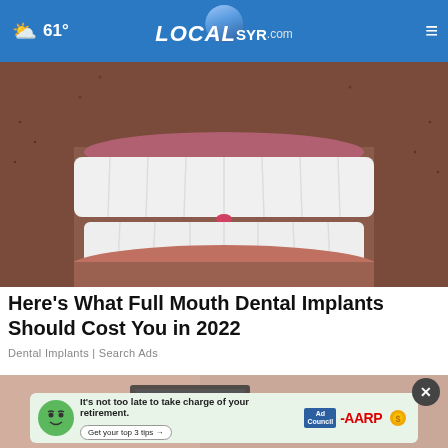☁ 61° | LOCALsyr.com
[Figure (photo): Close-up photo of a man's mouth showing a full set of white dental implants/veneers with stubble visible]
Here's What Full Mouth Dental Implants Should Cost You in 2022
Dental Implants | Search Ads
[Figure (photo): Partial screenshot of a person using a laptop, with an AARP advertisement banner overlay that reads 'It's not too late to take charge of your retirement. Get your top 3 tips →' with Ad Council and AARP logos]